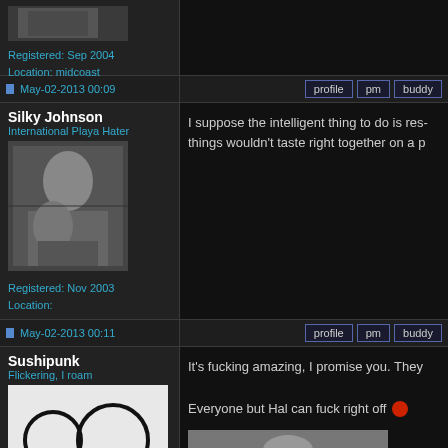Registered: Sep 2004
Location: midcoast
May-02-2013 00:09
profile | pm | buddy
Silky Johnson
International Playa Hater
[Figure (photo): Black and white photo of two people]
Registered: Nov 2003
Location:
May-02-2013 00:11
profile | pm | buddy
I suppose the intelligent thing to do is res- things wouldn't taste right together on a p
Sushipunk
Flickering, I roam
[Figure (illustration): Abstract illustration with two circles]
It's fucking amazing, I promise you. They
Everyone but Hal can fuck right off 🔴
[Figure (photo): Partial photo at bottom]